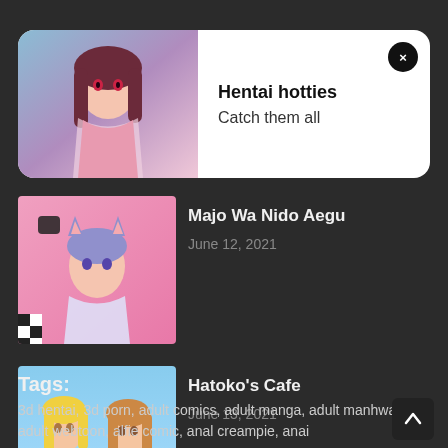[Figure (illustration): Notification card with anime girl illustration - Hentai hotties promo with red-eyed brown-haired anime character]
Hentai hotties
Catch them all
[Figure (illustration): Majo Wa Nido Aegu manga thumbnail - anime character with cat ears]
Majo Wa Nido Aegu
June 12, 2021
[Figure (illustration): Hatoko's Cafe manga thumbnail - anime girls in colorful outfits]
Hatoko's Cafe
June 13, 2021
Tags:
3d hentai, 3d porn, adult comics, adult manga, adult manhwa, adult webtoon, alfie comic, anal creampie, anai